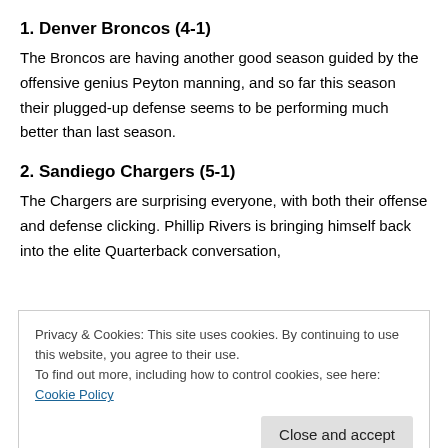1. Denver Broncos (4-1)
The Broncos are having another good season guided by the offensive genius Peyton manning, and so far this season their plugged-up defense seems to be performing much better than last season.
2. Sandiego Chargers (5-1)
The Chargers are surprising everyone, with both their offense and defense clicking. Phillip Rivers is bringing himself back into the elite Quarterback conversation,
Privacy & Cookies: This site uses cookies. By continuing to use this website, you agree to their use.
To find out more, including how to control cookies, see here: Cookie Policy
Close and accept
faces each other for the first time)